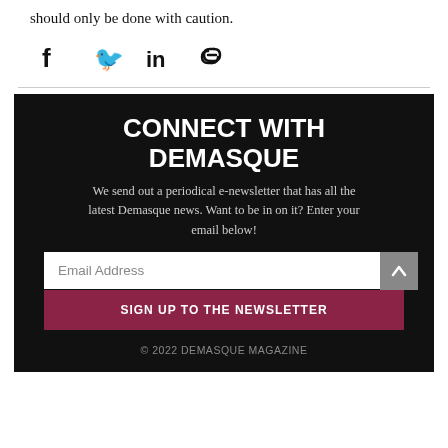should only be done with caution.
[Figure (infographic): Social share icons: Facebook (f), Twitter (bird), LinkedIn (in), and link/chain icon]
CONNECT WITH DEMASQUE
We send out a periodical e-newsletter that has all the latest Demasque news. Want to be in on it? Enter your email below!
Email Address
SIGN UP TO THE NEWSLETTER
© 2022 DEMASQUE MAGAZINE